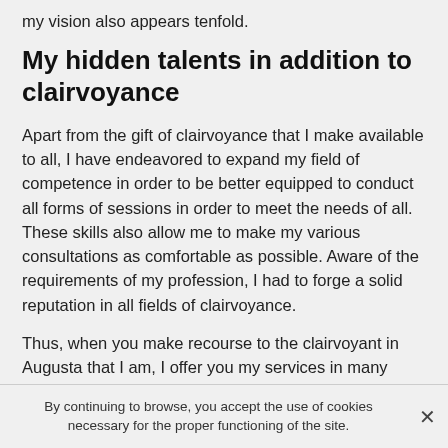my vision also appears tenfold.
My hidden talents in addition to clairvoyance
Apart from the gift of clairvoyance that I make available to all, I have endeavored to expand my field of competence in order to be better equipped to conduct all forms of sessions in order to meet the needs of all. These skills also allow me to make my various consultations as comfortable as possible. Aware of the requirements of my profession, I had to forge a solid reputation in all fields of clairvoyance.
Thus, when you make recourse to the clairvoyant in Augusta that I am, I offer you my services in many other fields of the divinatory arts. Thus, you will have according to your grievances or your problems right for a consultation
By continuing to browse, you accept the use of cookies necessary for the proper functioning of the site.